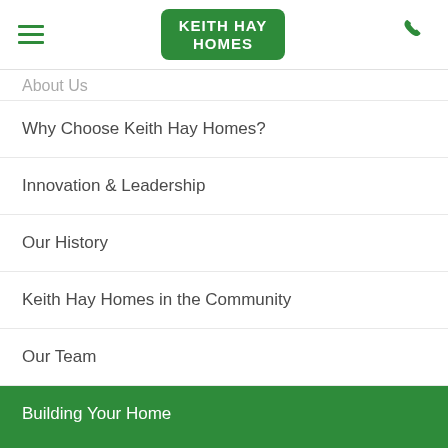Keith Hay Homes
About Us
Why Choose Keith Hay Homes?
Innovation & Leadership
Our History
Keith Hay Homes in the Community
Our Team
Building Your Home
Why Transportable?
The Design & Building Process